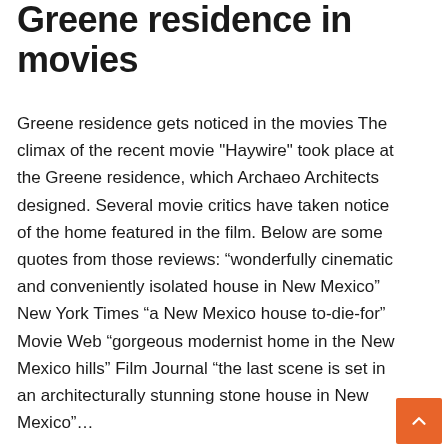Greene residence in movies
Greene residence gets noticed in the movies The climax of the recent movie "Haywire" took place at the Greene residence, which Archaeo Architects designed. Several movie critics have taken notice of the home featured in the film. Below are some quotes from those reviews: “wonderfully cinematic and conveniently isolated house in New Mexico” New York Times “a New Mexico house to-die-for” Movie Web “gorgeous modernist home in the New Mexico hills” Film Journal “the last scene is set in an architecturally stunning stone house in New Mexico”…